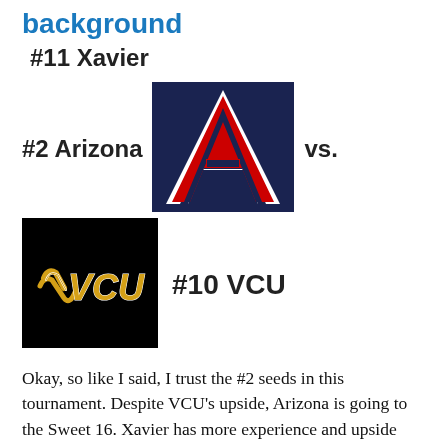background
#11 Xavier
[Figure (logo): University of Arizona Wildcats logo — navy blue background with large red letter A outlined in white]
#2 Arizona vs.
[Figure (logo): VCU Rams logo — black background with gold and white VCU text]
#10 VCU
Okay, so like I said, I trust the #2 seeds in this tournament.  Despite VCU's upside, Arizona is going to the Sweet 16.  Xavier has more experience and upside than FGCU so they will go as well.  Now for the madness.  I think Princeton will be able to beat West Virginia to